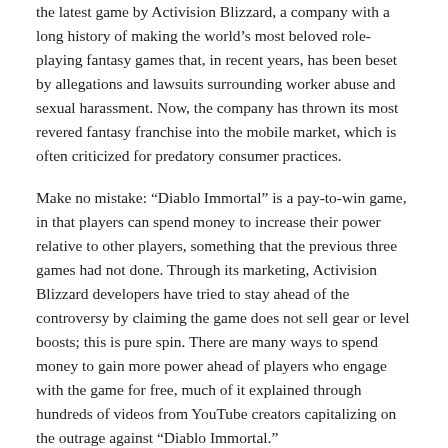the latest game by Activision Blizzard, a company with a long history of making the world's most beloved role-playing fantasy games that, in recent years, has been beset by allegations and lawsuits surrounding worker abuse and sexual harassment. Now, the company has thrown its most revered fantasy franchise into the mobile market, which is often criticized for predatory consumer practices.
Make no mistake: “Diablo Immortal” is a pay-to-win game, in that players can spend money to increase their power relative to other players, something that the previous three games had not done. Through its marketing, Activision Blizzard developers have tried to stay ahead of the controversy by claiming the game does not sell gear or level boosts; this is pure spin. There are many ways to spend money to gain more power ahead of players who engage with the game for free, much of it explained through hundreds of videos from YouTube creators capitalizing on the outrage against “Diablo Immortal.”